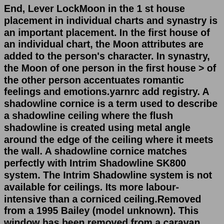End, Lever LockMoon in the 1 st house placement in individual charts and synastry is an important placement. In the first house of an individual chart, the Moon attributes are added to the person's character. In synastry, the Moon of one person in the first house > of the other person accentuates romantic feelings and emotions.yarnrc add registry. A shadowline cornice is a term used to describe a shadowline ceiling where the flush shadowline is created using metal angle around the edge of the ceiling where it meets the wall. A shadowline cornice matches perfectly with Intrim Shadowline SK800 system. The Intrim Shadowline system is not available for ceilings. Its more labour-intensive than a corniced ceiling.Removed from a 1995 Bailey (model unknown). This window has been removed from a caravan over 20 years old therefore they are not in perfect condition. Hinged opening. Used window. height 860mm (33 3/4"). Fast Money 4 Scrap Cars. Car Breakers. Call. 6.1 mi | 118-130 Bushbury Lane, Wolverhampton, WV10 9TW. Open now Closes at